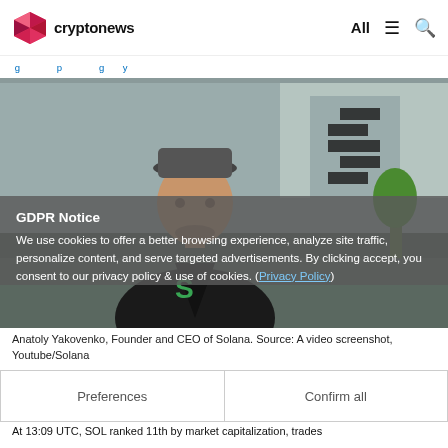cryptonews | All
Breadcrumb navigation link
[Figure (photo): Anatoly Yakovenko, Founder and CEO of Solana, seated on a couch wearing a cap, with a Solana logo visible in the background.]
GDPR Notice
We use cookies to offer a better browsing experience, analyze site traffic, personalize content, and serve targeted advertisements. By clicking accept, you consent to our privacy policy & use of cookies. (Privacy Policy)
Anatoly Yakovenko, Founder and CEO of Solana. Source: A video screenshot, Youtube/Solana
Preferences    Confirm all
At 13:09 UTC, SOL ranked 11th by market capitalization, trades